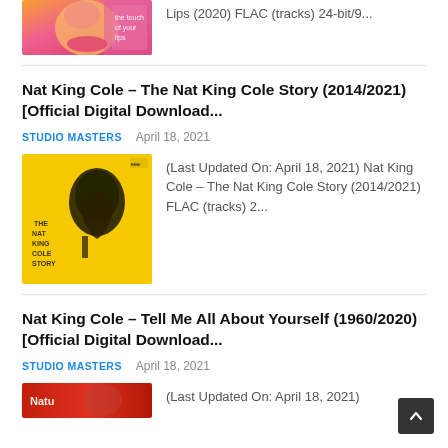[Figure (photo): Partial album cover thumbnail at top of page, cropped view of a face with pink/orange tones]
Lips (2020) FLAC (tracks) 24-bit/9...
Nat King Cole – The Nat King Cole Story (2014/2021) [Official Digital Download...
STUDIO MASTERS   April 18, 2021
[Figure (photo): Yellow album cover for The Nat King Cole Story with stylized portrait illustration]
(Last Updated On: April 18, 2021) Nat King Cole – The Nat King Cole Story (2014/2021) FLAC (tracks) 2...
Nat King Cole – Tell Me All About Yourself (1960/2020) [Official Digital Download...
STUDIO MASTERS   April 18, 2021
[Figure (photo): Partial red album cover thumbnail at bottom of page]
(Last Updated On: April 18, 2021)